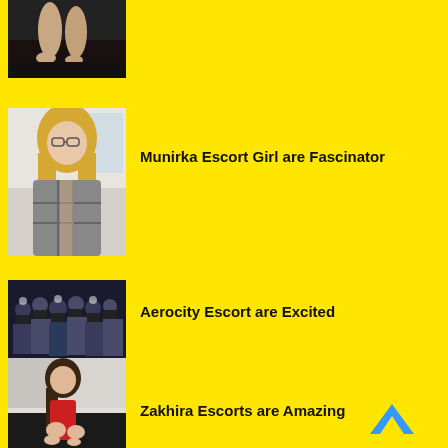[Figure (photo): Partial view of legs/feet on dark sofa, top portion cropped]
[Figure (photo): Blonde woman with glasses in grey plaid shirt]
Munirka Escort Girl are Fascinator
[Figure (photo): Group of people with cameras crowding together]
Aerocity Escort are Excited
[Figure (photo): Woman with long hair in red outfit sitting on dark sofa]
Zakhira Escorts are Amazing